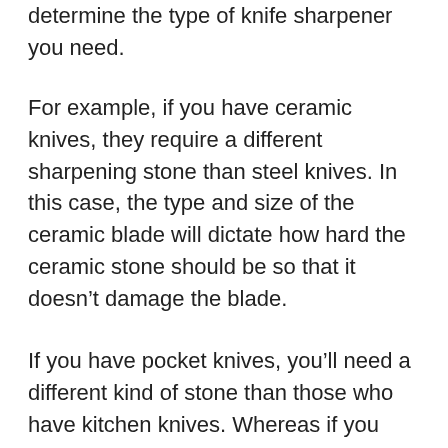determine the type of knife sharpener you need.
For example, if you have ceramic knives, they require a different sharpening stone than steel knives. In this case, the type and size of the ceramic blade will dictate how hard the ceramic stone should be so that it doesn’t damage the blade.
If you have pocket knives, you’ll need a different kind of stone than those who have kitchen knives. Whereas if you have hunting knives, you’ll need different sharpening stones for hunting knives than for utility knives.
If you are unsure about what kind of knife